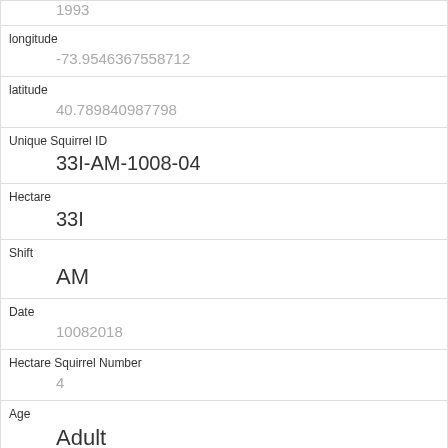| (row showing value) 1993 |
| longitude | -73.9546367558712 |
| latitude | 40.789840987798 |
| Unique Squirrel ID | 33I-AM-1008-04 |
| Hectare | 33I |
| Shift | AM |
| Date | 10082018 |
| Hectare Squirrel Number | 4 |
| Age | Adult |
| Primary Fur Color |  |
| Highlight Fur Color |  |